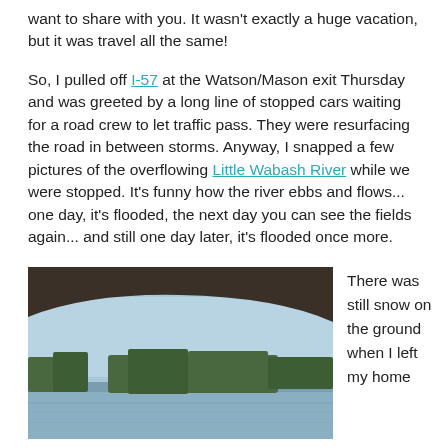want to share with you. It wasn't exactly a huge vacation, but it was travel all the same!
So, I pulled off I-57 at the Watson/Mason exit Thursday and was greeted by a long line of stopped cars waiting for a road crew to let traffic pass. They were resurfacing the road in between storms. Anyway, I snapped a few pictures of the overflowing Little Wabash River while we were stopped. It's funny how the river ebbs and flows... one day, it's flooded, the next day you can see the fields again... and still one day later, it's flooded once more.
[Figure (photo): Photo taken from under a bridge showing the Little Wabash River with flooded fields, trees visible in the background and blue sky above.]
There was still snow on the ground when I left my home